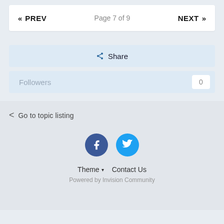« PREV   Page 7 of 9   NEXT »
Share
Followers  0
Go to topic listing
[Figure (illustration): Facebook and Twitter social media icons]
Theme ▾  Contact Us
Powered by Invision Community